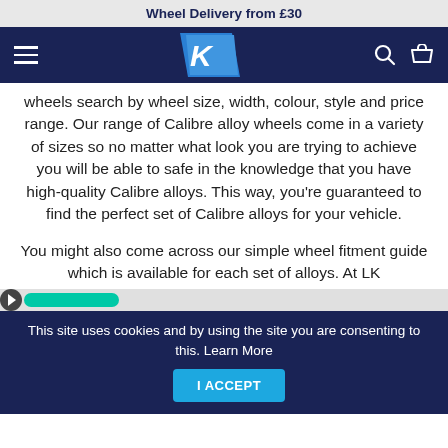Wheel Delivery from £30
[Figure (logo): LK Alloys logo — white K on blue parallelogram background, navigation bar with hamburger menu, search icon, and basket icon on dark navy background]
wheels search by wheel size, width, colour, style and price range. Our range of Calibre alloy wheels come in a variety of sizes so no matter what look you are trying to achieve you will be able to safe in the knowledge that you have high-quality Calibre alloys. This way, you're guaranteed to find the perfect set of Calibre alloys for your vehicle.
You might also come across our simple wheel fitment guide which is available for each set of alloys. At LK
This site uses cookies and by using the site you are consenting to this. Learn More
I ACCEPT